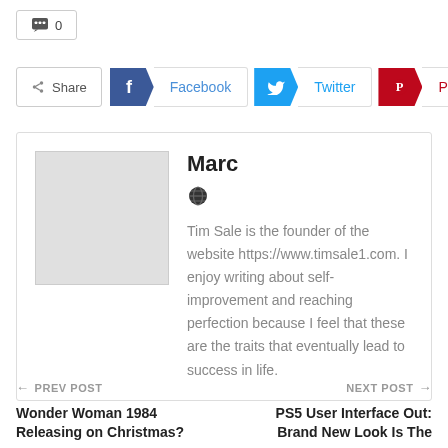💬 0
[Figure (infographic): Social share buttons: Share, Facebook, Twitter, Pinterest]
[Figure (infographic): Author card with avatar placeholder, name Marc, globe icon, and bio text]
Marc
Tim Sale is the founder of the website https://www.timsale1.com. I enjoy writing about self-improvement and reaching perfection because I feel that these are the traits that eventually lead to success in life.
← PREV POST
Wonder Woman 1984 Releasing on Christmas?
NEXT POST →
PS5 User Interface Out: Brand New Look Is The